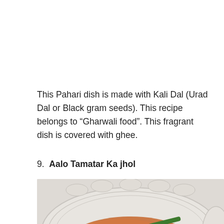This Pahari dish is made with Kali Dal (Urad Dal or Black gram seeds). This recipe belongs to “Gharwali food”. This fragrant dish is covered with ghee.
9. Aalo Tamatar Ka jhol
[Figure (photo): A photo of Aalo Tamatar Ka jhol dish served in a white ridged bowl, showing a tomato-based curry with green beans (French beans) laid on top, garnished with coriander leaves.]